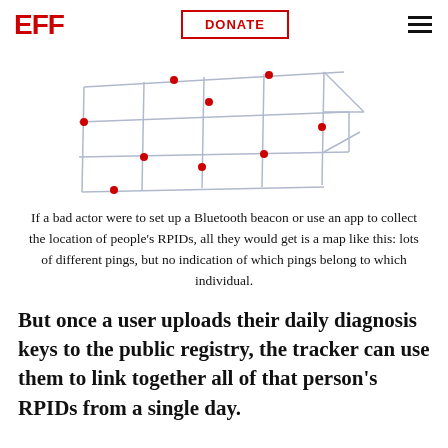EFF | DONATE
[Figure (illustration): A grid-like map illustration showing scattered red dots at various intersections, representing different Bluetooth pings from different people at different locations. The grid is drawn in light blue/grey lines with a road-like layout.]
If a bad actor were to set up a Bluetooth beacon or use an app to collect the location of people's RPIDs, all they would get is a map like this: lots of different pings, but no indication of which pings belong to which individual.
But once a user uploads their daily diagnosis keys to the public registry, the tracker can use them to link together all of that person's RPIDs from a single day.